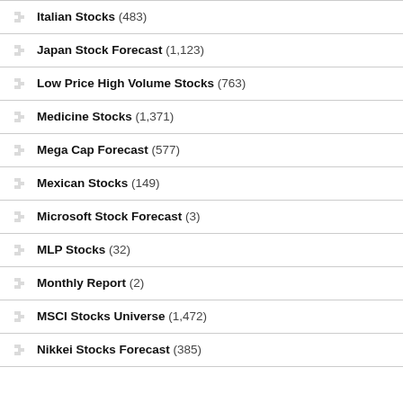Italian Stocks (483)
Japan Stock Forecast (1,123)
Low Price High Volume Stocks (763)
Medicine Stocks (1,371)
Mega Cap Forecast (577)
Mexican Stocks (149)
Microsoft Stock Forecast (3)
MLP Stocks (32)
Monthly Report (2)
MSCI Stocks Universe (1,472)
Nikkei Stocks Forecast (385)